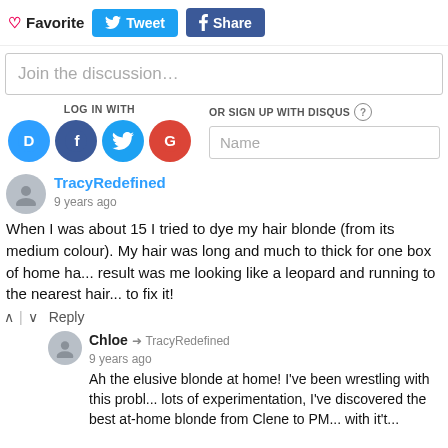♡ Favorite  🐦 Tweet  f Share
Join the discussion...
LOG IN WITH  OR SIGN UP WITH DISQUS ?  Name
TracyRedefined
9 years ago
When I was about 15 I tried to dye my hair blonde (from its medium colour). My hair was long and much to thick for one box of home ha... result was me looking like a leopard and running to the nearest hair... to fix it!
^ | ∨  Reply
Chloe → TracyRedefined
9 years ago
Ah the elusive blonde at home! I've been wrestling with this probl... lots of experimentation, I've discovered the best at-home blonde from Clene to PM... with it't...